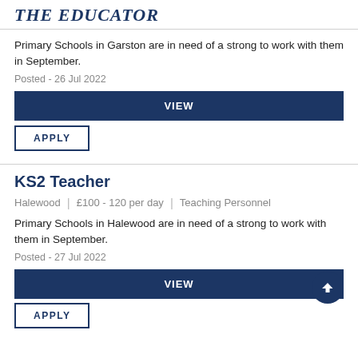THE EDUCATOR
Primary Schools in Garston are in need of a strong to work with them in September.
Posted - 26 Jul 2022
VIEW
APPLY
KS2 Teacher
Halewood | £100 - 120 per day | Teaching Personnel
Primary Schools in Halewood are in need of a strong to work with them in September.
Posted - 27 Jul 2022
VIEW
APPLY